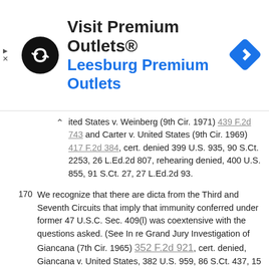[Figure (infographic): Advertisement banner for Premium Outlets featuring a circular black logo with overlapping arrows, the text 'Visit Premium Outlets®' in bold and 'Leesburg Premium Outlets' in blue, and a blue diamond navigation icon. Close/arrow controls on the left side.]
ited States v. Weinberg (9th Cir. 1971) 439 F.2d 743 and Carter v. United States (9th Cir. 1969) 417 F.2d 384, cert. denied 399 U.S. 935, 90 S.Ct. 2253, 26 L.Ed.2d 807, rehearing denied, 400 U.S. 855, 91 S.Ct. 27, 27 L.Ed.2d 93.
170 We recognize that there are dicta from the Third and Seventh Circuits that imply that immunity conferred under former 47 U.S.C. Sec. 409(l) was coextensive with the questions asked. (See In re Grand Jury Investigation of Giancana (7th Cir. 1965) 352 F.2d 921, cert. denied, Giancana v. United States, 382 U.S. 959, 86 S.Ct. 437, 15 L.Ed.2d 362, and Marcus v. United States (3d Cir. 1962) 310 F.2d 143, cert. denied, 372 U.S. 944, 83 S.Ct. 933, 9 L.Ed.2d 969.) We doubt that the same courts would construe Section 2514 as they did Section 409(l). But if our doubts are groundless, we would reject their construction of Section 2514, and we would continue to rely on the reasoning of Chief Judge Friendly in In re Vericker (2d Cir. 1971) 446 F.2d 244, 247-248.